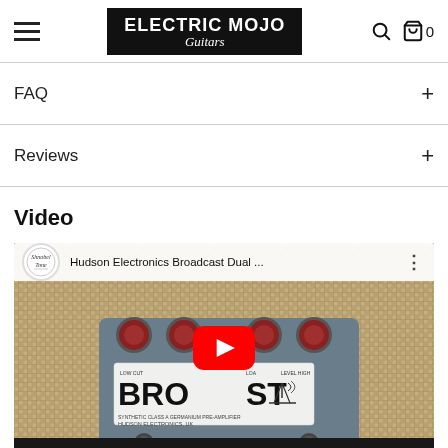[Figure (logo): Electric Mojo Guitars logo — white text on black rectangular background with border]
FAQ
Reviews
Video
[Figure (screenshot): YouTube video thumbnail showing Hudson Electronics Broadcast Dual guitar pedal with red knobs on a tweed amp background. Channel icon: Shnobel Tone. Title: 'Hudson Electronics Broadcast Dual ...' Red YouTube play button overlay in center.]